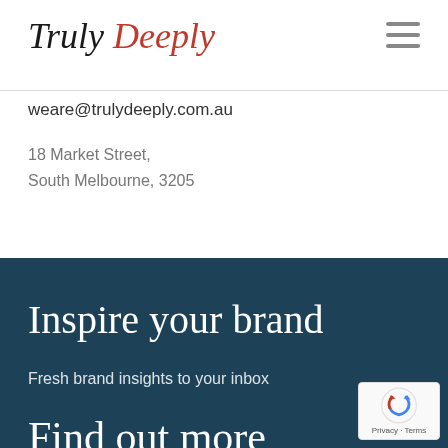Truly Deeply
weare@trulydeeply.com.au
18 Market Street,
South Melbourne, 3205
Inspire your brand
Fresh brand insights to your inbox
Find out more
[Figure (logo): reCAPTCHA badge with Privacy and Terms text]